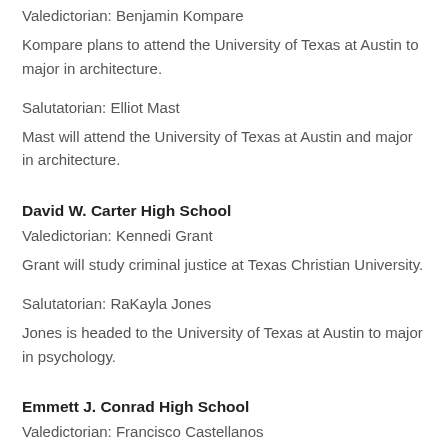Valedictorian: Benjamin Kompare
Kompare plans to attend the University of Texas at Austin to major in architecture.
Salutatorian: Elliot Mast
Mast will attend the University of Texas at Austin and major in architecture.
David W. Carter High School
Valedictorian: Kennedi Grant
Grant will study criminal justice at Texas Christian University.
Salutatorian: RaKayla Jones
Jones is headed to the University of Texas at Austin to major in psychology.
Emmett J. Conrad High School
Valedictorian: Francisco Castellanos
Castellanos will attend the University of North Texas at Dallas